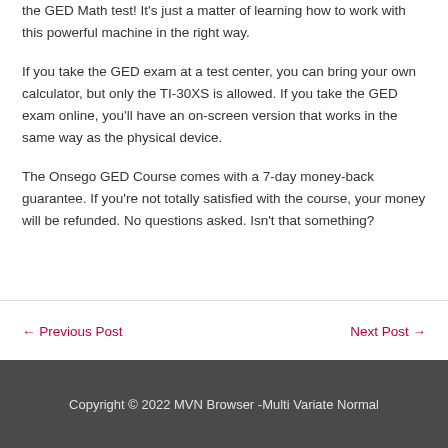the GED Math test! It's just a matter of learning how to work with this powerful machine in the right way.
If you take the GED exam at a test center, you can bring your own calculator, but only the TI-30XS is allowed. If you take the GED exam online, you'll have an on-screen version that works in the same way as the physical device.
The Onsego GED Course comes with a 7-day money-back guarantee. If you're not totally satisfied with the course, your money will be refunded. No questions asked. Isn't that something?
← Previous Post
Next Post →
Copyright © 2022 MVN Browser -Multi Variate Normal